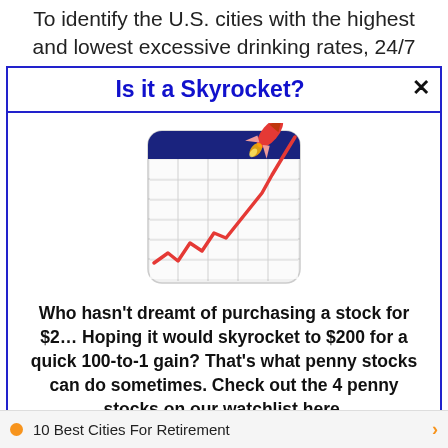To identify the U.S. cities with the highest and lowest excessive drinking rates, 24/7
Is it a Skyrocket?
[Figure (illustration): Illustration of a stock market chart (line chart going up) on a calendar/grid background with a red rocket launching off the chart line, representing a skyrocketing stock price.]
Who hasn't dreamt of purchasing a stock for $2… Hoping it would skyrocket to $200 for a quick 100-to-1 gain? That's what penny stocks can do sometimes. Check out the 4 penny stocks on our watchlist here.
>>> See The List <<<
10 Best Cities For Retirement